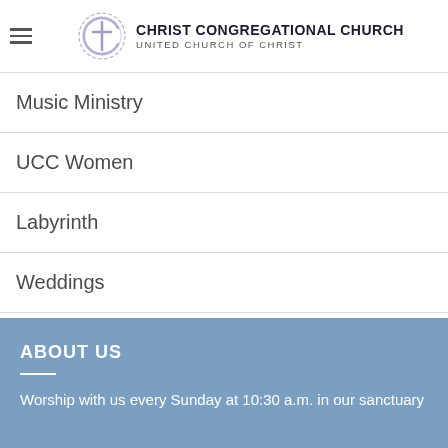CHRIST CONGREGATIONAL CHURCH UNITED CHURCH OF CHRIST
Music Ministry
UCC Women
Labyrinth
Weddings
Baptisms
ABOUT US
Worship with us every Sunday at 10:30 a.m. in our sanctuary